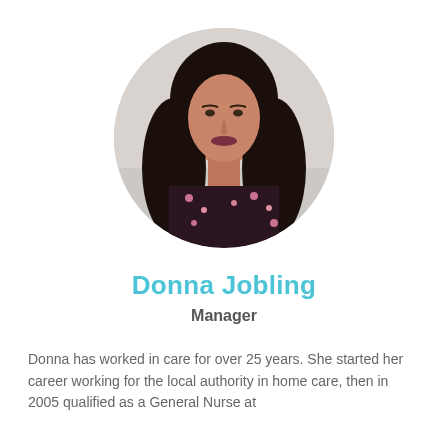[Figure (photo): Circular portrait photo of Donna Jobling, a woman with long dark wavy hair, wearing a dark floral print top, photographed against a light background.]
Donna Jobling
Manager
Donna has worked in care for over 25 years.  She started her career working for the local authority in home care, then in 2005 qualified as a General Nurse at